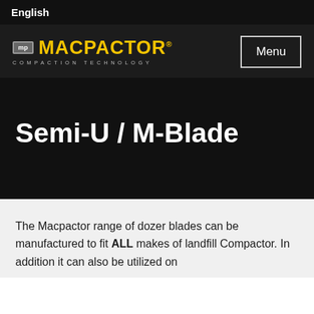English
[Figure (logo): Macpactor Compaction Technology logo with yellow text and grey MP icon box, with Menu button on right]
Semi-U / M-Blade
The Macpactor range of dozer blades can be manufactured to fit ALL makes of landfill Compactor. In addition it can also be utilized on